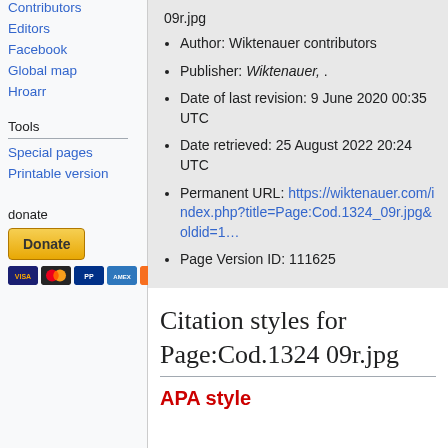Contributors
Editors
Facebook
Global map
Hroarr
Tools
Special pages
Printable version
donate
09r.jpg
Author: Wiktenauer contributors
Publisher: Wiktenauer, .
Date of last revision: 9 June 2020 00:35 UTC
Date retrieved: 25 August 2022 20:24 UTC
Permanent URL: https://wiktenauer.com/index.php?title=Page:Cod.1324_09r.jpg&oldid=1…
Page Version ID: 111625
Citation styles for Page:Cod.1324 09r.jpg
APA style